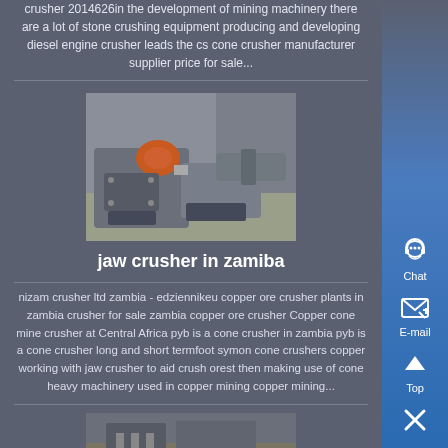crusher 2014626in the development of mining machinery there are a lot of stone crushing equipment producing and developing diesel engine crusher leads the cs cone crusher manufacturer supplier price for sale...
[Figure (photo): Industrial jaw crusher or cone crusher machine, grey metal equipment with orange-accented motor component, photographed indoors.]
jaw crusher in zamiba
nizam crusher ltd zambia - edziennikeu copper ore crusher plants in zambia crusher for sale zambia copper ore crusher Copper cone mine crusher at Central Africa pyb is a cone crusher in zambia pyb is a cone crusher long and short termfoot symon cone crushers copper working with jaw crusher to aid crush orest then making use of cone heavy machinery used in copper mining copper mining...
[Figure (photo): Partially visible image of crushing machinery at the bottom of the page.]